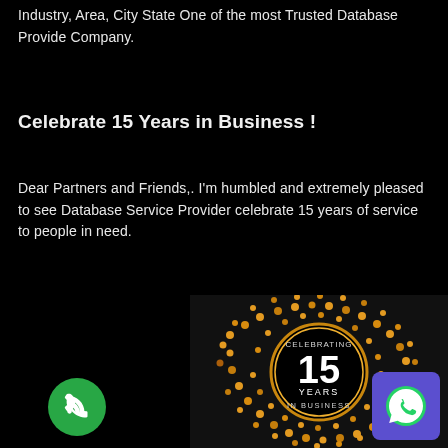Industry, Area, City State One of the most Trusted Database Provide Company.
Celebrate 15 Years in Business !
Dear Partners and Friends,. I'm humbled and extremely pleased to see Database Service Provider celebrate 15 years of service to people in need.
[Figure (illustration): Celebration graphic showing a circular gold dot-matrix design with text 'CELEBRATING 15 YEARS IN BUSINESS' in the center on a black background.]